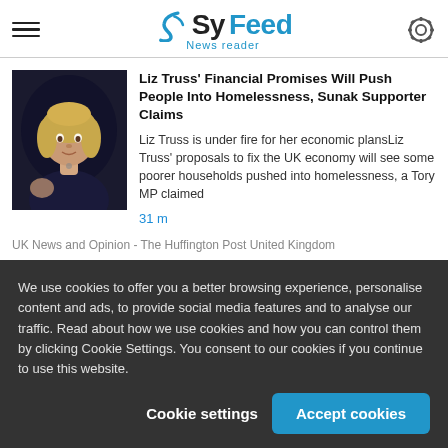SyFeed News reader
Liz Truss' Financial Promises Will Push People Into Homelessness, Sunak Supporter Claims
Liz Truss is under fire for her economic plansLiz Truss' proposals to fix the UK economy will see some poorer households pushed into homelessness, a Tory MP claimed
31 m
UK News and Opinion - The Huffington Post United Kingdom
We use cookies to offer you a better browsing experience, personalise content and ads, to provide social media features and to analyse our traffic. Read about how we use cookies and how you can control them by clicking Cookie Settings. You consent to our cookies if you continue to use this website.
Cookie settings
Accept cookies